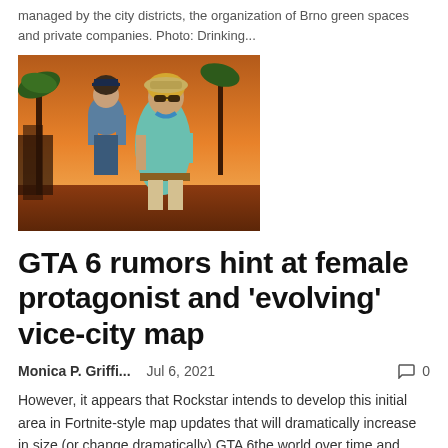managed by the city districts, the organization of Brno green spaces and private companies. Photo: Drinking...
[Figure (illustration): GTA 6 promotional artwork showing two female characters — one in a police uniform, one in sunglasses and casual clothing — against a sunset background with palm trees]
GTA 6 rumors hint at female protagonist and ‘evolving’ vice-city map
Monica P. Griffi...   Jul 6, 2021   💬 0
However, it appears that Rockstar intends to develop this initial area in Fortnite-style map updates that will dramatically increase in size (or change dramatically) GTA 6the world over time and gives